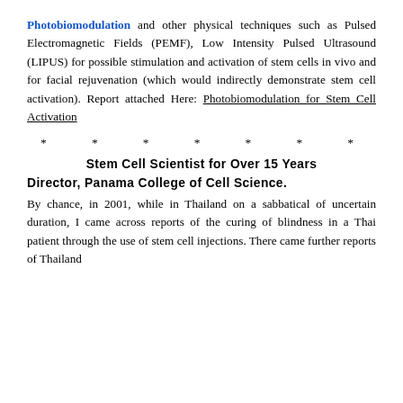Photobiomodulation and other physical techniques such as Pulsed Electromagnetic Fields (PEMF), Low Intensity Pulsed Ultrasound (LIPUS) for possible stimulation and activation of stem cells in vivo and for facial rejuvenation (which would indirectly demonstrate stem cell activation). Report attached Here: Photobiomodulation for Stem Cell Activation
* * * * * * *
Stem Cell Scientist for Over 15 Years
Director, Panama College of Cell Science.
By chance, in 2001, while in Thailand on a sabbatical of uncertain duration, I came across reports of the curing of blindness in a Thai patient through the use of stem cell injections. There came further reports of Thailand